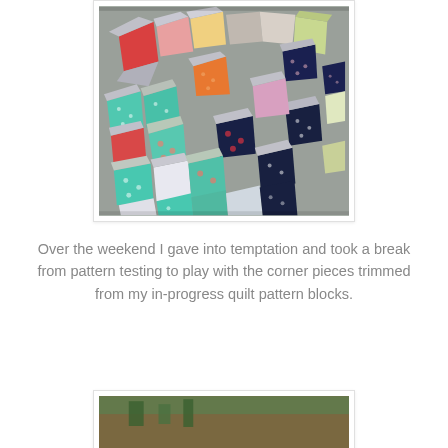[Figure (photo): A photo of many colorful quilt fabric corner pieces laid out on a grey table. The pieces include various patterned fabrics in red floral, teal polka dot, navy floral, orange polka dot, yellow, green, and grey tones, arranged in a scattered triangular/square pattern.]
Over the weekend I gave into temptation and took a break from pattern testing to play with the corner pieces trimmed from my in-progress quilt pattern blocks.
[Figure (photo): A partially visible photo showing what appears to be a wooden surface with some green plant or fabric visible at the top.]